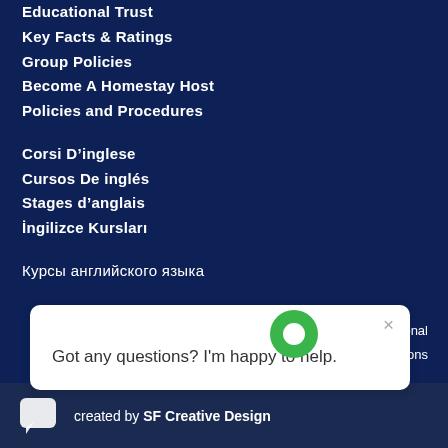Educational Trust
Key Facts & Ratings
Group Policies
Become A Homestay Host
Policies and Procedures
Corsi D'inglese
Cursos De inglés
Stages d'anglais
İngilizce Kursları
Курсы английского языка
Got any questions? I'm happy to help.
…international
…tions
Privacy Policy
created by SF Creative Design